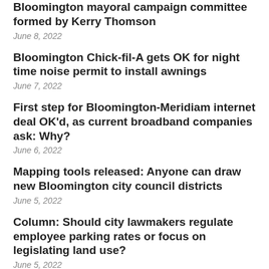Bloomington mayoral campaign committee formed by Kerry Thomson
June 8, 2022
Bloomington Chick-fil-A gets OK for night time noise permit to install awnings
June 7, 2022
First step for Bloomington-Meridiam internet deal OK'd, as current broadband companies ask: Why?
June 6, 2022
Mapping tools released: Anyone can draw new Bloomington city council districts
June 5, 2022
Column: Should city lawmakers regulate employee parking rates or focus on legislating land use?
June 5, 2022